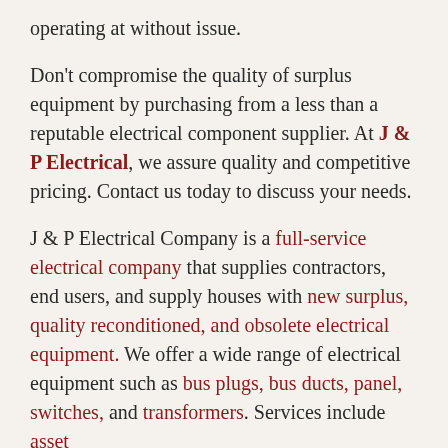operating at without issue.
Don't compromise the quality of surplus equipment by purchasing from a less than a reputable electrical component supplier. At J & P Electrical, we assure quality and competitive pricing. Contact us today to discuss your needs.
J & P Electrical Company is a full-service electrical company that supplies contractors, end users, and supply houses with new surplus, quality reconditioned, and obsolete electrical equipment. We offer a wide range of electrical equipment such as bus plugs, bus ducts, panel, switches, and transformers. Services include asset